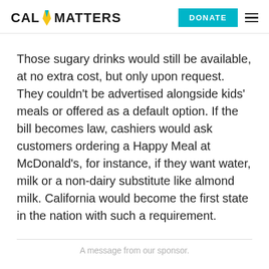CALMATTERS | DONATE
Those sugary drinks would still be available, at no extra cost, but only upon request. They couldn’t be advertised alongside kids’ meals or offered as a default option. If the bill becomes law, cashiers would ask customers ordering a Happy Meal at McDonald’s, for instance, if they want water, milk or a non-dairy substitute like almond milk. California would become the first state in the nation with such a requirement.
A message from our sponsor.